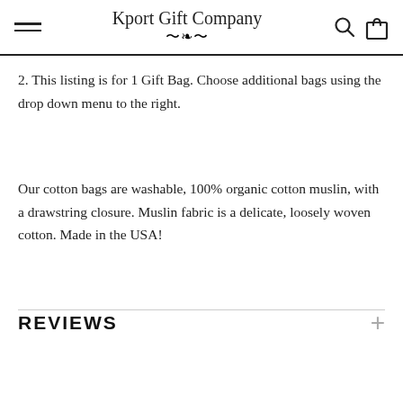Kport Gift Company
2. This listing is for 1 Gift Bag. Choose additional bags using the drop down menu to the right.
Our cotton bags are washable, 100% organic cotton muslin, with a drawstring closure. Muslin fabric is a delicate, loosely woven cotton. Made in the USA!
REVIEWS